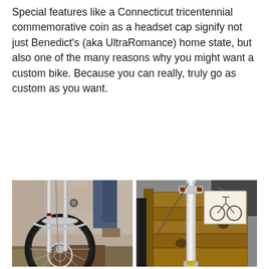Special features like a Connecticut tricentennial commemorative coin as a headset cap signify not just Benedict's (aka UltraRomance) home state, but also one of the many reasons why you might want a custom bike. Because you can really, truly go as custom as you want.
[Figure (photo): Close-up photo of a custom bicycle front fork with disc brake, showing chromed/stainless steel fork legs and a wheel with spokes, disc rotor visible at the bottom. Background shows a garage setting.]
[Figure (photo): Photo of a chrome bicycle fork leaning against a wooden pallet in a workshop. A hand-drawn bicycle diagram on a piece of paper is visible attached to the fork. Small yellow component visible at the bottom of the steerer tube.]